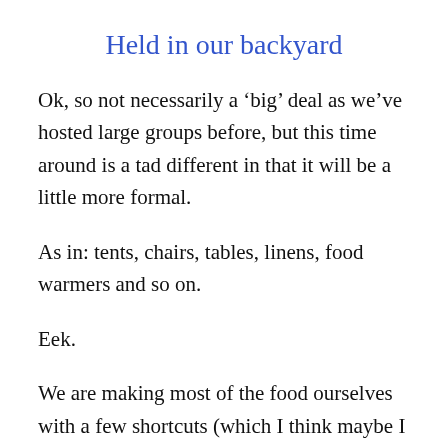Held in our backyard
Ok, so not necessarily a ‘big’ deal as we’ve hosted large groups before, but this time around is a tad different in that it will be a little more formal.
As in: tents, chairs, tables, linens, food warmers and so on.
Eek.
We are making most of the food ourselves with a few shortcuts (which I think maybe I should do a post on this soon!) … and opted to do beer, wine and sangria with a